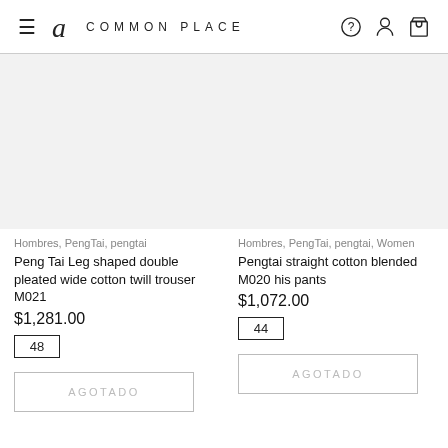COMMON PLACE
[Figure (photo): Product image placeholder for Peng Tai Leg shaped double pleated wide cotton twill trouser M021]
Hombres, PengTai, pengtai
Peng Tai Leg shaped double pleated wide cotton twill trouser M021
$1,281.00
48
AGOTADO
[Figure (photo): Product image placeholder for Pengtai straight cotton blended M020 his pants]
Hombres, PengTai, pengtai, Women
Pengtai straight cotton blended M020 his pants
$1,072.00
44
AGOTADO